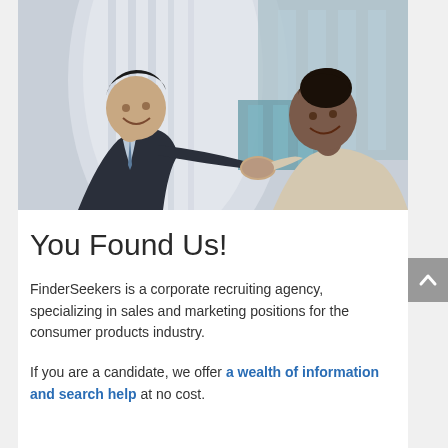[Figure (photo): Two business professionals shaking hands outdoors in front of a modern glass building, viewed from a low angle. A man in a dark suit on the left shakes hands with a woman in a light beige blazer on the right.]
You Found Us!
FinderSeekers is a corporate recruiting agency, specializing in sales and marketing positions for the consumer products industry.
If you are a candidate, we offer a wealth of information and search help at no cost.